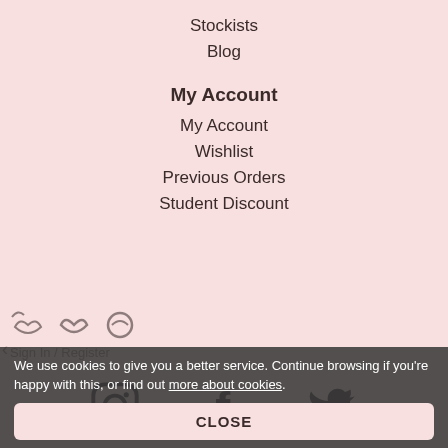Stockists
Blog
My Account
My Account
Wishlist
Previous Orders
Student Discount
[Figure (other): Social media icons: Instagram, Facebook, Twitter]
We use cookies to give you a better service. Continue browsing if you're happy with this, or find out more about cookies.
CLOSE